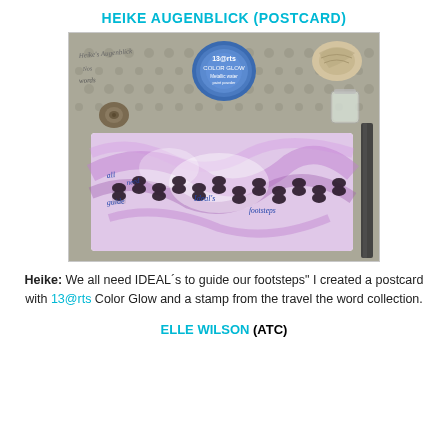HEIKE AUGENBLICK (POSTCARD)
[Figure (photo): A top-down photo showing a handmade postcard with purple ink/watercolor marble effect and black footprint stamps, placed on a lace doily surface alongside a 13@rts Color Glow tin, a snail shell, a glass jar, a pen, and handwriting text.]
Heike:  We all need IDEAL´s to guide our footsteps" I created a postcard with 13@rts Color Glow and a stamp from the travel the word collection.
ELLE WILSON (ATC)